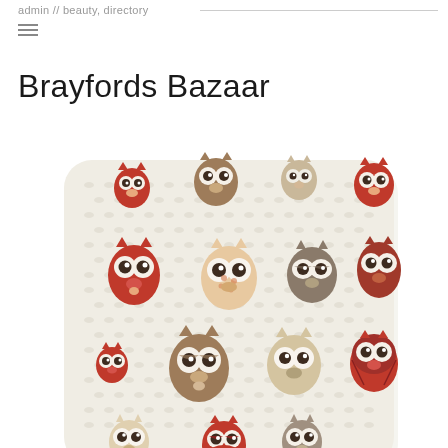admin // beauty, directory
Brayfords Bazaar
[Figure (photo): A square decorative cushion/pillow with a cream/off-white textured fabric background covered in a pattern of cartoon owl faces in various sizes, colored in shades of red/orange, brown, tan, and cream.]